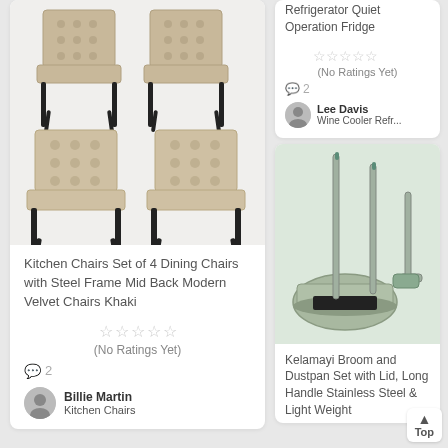[Figure (photo): Four khaki velvet dining chairs with black steel legs arranged in a 2x2 pattern]
Kitchen Chairs Set of 4 Dining Chairs with Steel Frame Mid Back Modern Velvet Chairs Khaki
[Figure (other): Five empty star rating icons]
(No Ratings Yet)
2
Billie Martin
Kitchen Chairs
Refrigerator Quiet Operation Fridge
[Figure (other): Five empty star rating icons]
(No Ratings Yet)
2
Lee Davis
Wine Cooler Refr...
[Figure (photo): Kelamayi broom and dustpan set with long stainless steel handles and lid, silver/green color]
Kelamayi Broom and Dustpan Set with Lid, Long Handle Stainless Steel & Light Weight